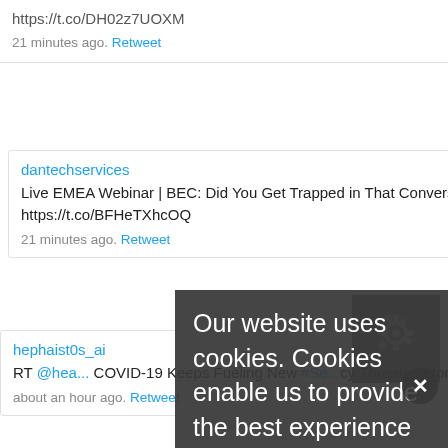https://t.co/DH02z7UOXM
21 minutes ago. Retweet
dantechservices
Live EMEA Webinar | BEC: Did You Get Trapped in That Conversation? https://t.co/2vDibUhplq https://t.co/BFHeTXhcOQ
21 minutes ago. Retweet
hephaist0s_ai
RT @heal... COVID-19 Keeps Fueling New #Security Threats: Attorney Erik Weinick ... Facilities, #Inside...
about an hour ago. Retweet
healthinfosec
How #COVID-19 Keeps Fueling New #Security, #Privacy Threats: Attorney Erik Weinick on Pop-Up Testing F... https://t.co/TtkYXQzkd1
Our website uses cookies. Cookies enable us to provide the best experience possible and help us understand how visitors use our website. By browsing bankinfosecurity.eu, you agree to our use of cookies.